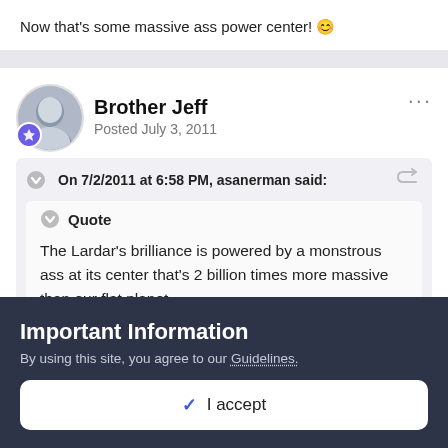Now that's some massive ass power center! 😊
Brother Jeff
Posted July 3, 2011
On 7/2/2011 at 6:58 PM, asanerman said:
Quote
The Lardar's brilliance is powered by a monstrous ass at its center that's 2 billion times more massive than our flat planet.
Important Information
By using this site, you agree to our Guidelines.
✓  I accept